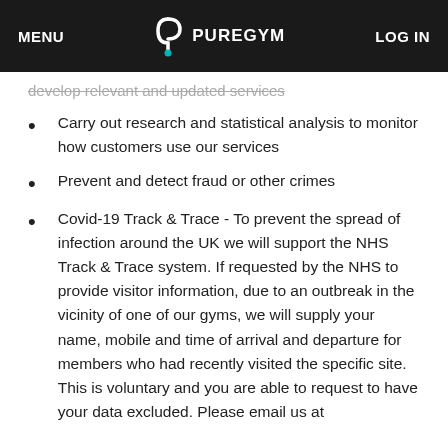MENU  PUREGYM  LOG IN
develop relevant and updated services
Carry out research and statistical analysis to monitor how customers use our services
Prevent and detect fraud or other crimes
Covid-19 Track & Trace - To prevent the spread of infection around the UK we will support the NHS Track & Trace system. If requested by the NHS to provide visitor information, due to an outbreak in the vicinity of one of our gyms, we will supply your name, mobile and time of arrival and departure for members who had recently visited the specific site. This is voluntary and you are able to request to have your data excluded. Please email us at